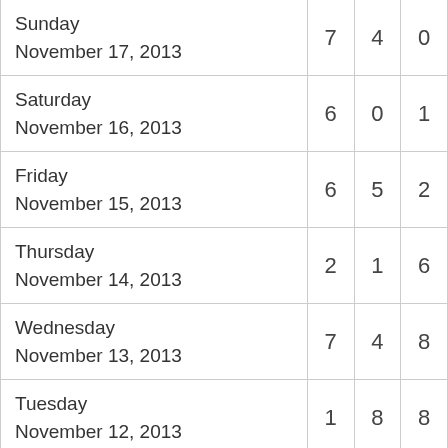| Date |  |  |  |
| --- | --- | --- | --- |
| Sunday
November 17, 2013 | 7 | 4 | 0 |
| Saturday
November 16, 2013 | 6 | 0 | 1 |
| Friday
November 15, 2013 | 6 | 5 | 2 |
| Thursday
November 14, 2013 | 2 | 1 | 6 |
| Wednesday
November 13, 2013 | 7 | 4 | 8 |
| Tuesday
November 12, 2013 | 1 | 8 | 8 |
| Monday
November 11, 2013 | 6 | 3 | 4 |